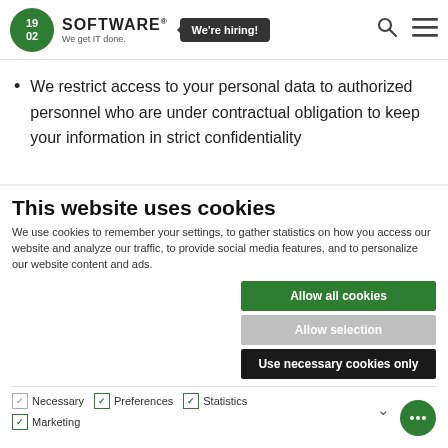[Figure (screenshot): 1902 Software logo with green circle containing '19 02', text 'SOFTWARE® We get IT done.', 'We're hiring!' badge in dark box, search icon, and hamburger menu icon in the website header]
We restrict access to your personal data to authorized personnel who are under contractual obligation to keep your information in strict confidentiality
This website uses cookies
We use cookies to remember your settings, to gather statistics on how you access our website and analyze our traffic, to provide social media features, and to personalize our website content and ads.
Allow all cookies
Allow selection
Use necessary cookies only
Necessary   Preferences   Statistics   Marketing